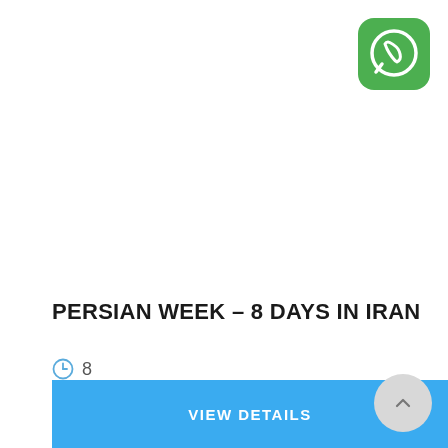[Figure (logo): WhatsApp logo icon — green rounded square with white phone/chat bubble icon]
PERSIAN WEEK – 8 DAYS IN IRAN
8
VIEW DETAILS